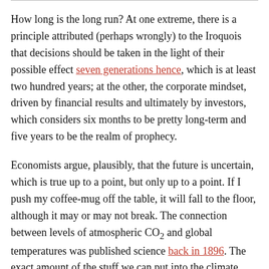How long is the long run? At one extreme, there is a principle attributed (perhaps wrongly) to the Iroquois that decisions should be taken in the light of their possible effect seven generations hence, which is at least two hundred years; at the other, the corporate mindset, driven by financial results and ultimately by investors, which considers six months to be pretty long-term and five years to be the realm of prophecy.
Economists argue, plausibly, that the future is uncertain, which is true up to a point, but only up to a point. If I push my coffee-mug off the table, it will fall to the floor, although it may or may not break. The connection between levels of atmospheric CO2 and global temperatures was published science back in 1896. The exact amount of the stuff we can put into the climate system without rendering the planet...